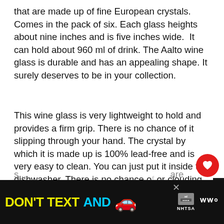that are made up of fine European crystals. Comes in the pack of six. Each glass heights about nine inches and is five inches wide.  It can hold about 960 ml of drink. The Aalto wine glass is durable and has an appealing shape. It surely deserves to be in your collection.
This wine glass is very lightweight to hold and provides a firm grip. There is no chance of it slipping through your hand. The crystal by which it is made up is 100% lead-free and is very easy to clean. You can just put it inside the dishwasher. There is no chance of... or clouding on the glass; it is made up of... durable quality.
[Figure (screenshot): UI overlay elements: a red heart/favourite button, a share button, and a 'What's Next' card showing '5 Best Champagne...' with a thumbnail image]
[Figure (infographic): Advertisement banner: DON'T TEXT AND [car emoji] with ad label and NHTSA logo on dark background]
s... are